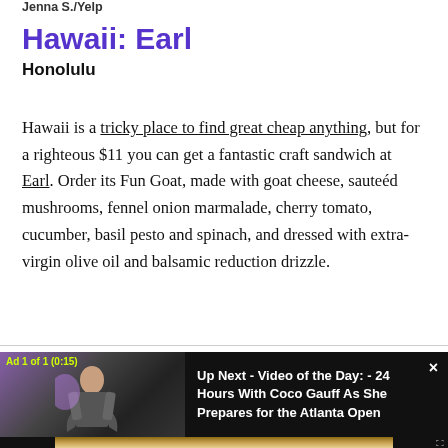Jenna S./Yelp
Hawaii: Earl
Honolulu
Hawaii is a tricky place to find great cheap anything, but for a righteous $11 you can get a fantastic craft sandwich at Earl. Order its Fun Goat, made with goat cheese, sauteéd mushrooms, fennel onion marmalade, cherry tomato, cucumber, basil pesto and spinach, and dressed with extra-virgin olive oil and balsamic reduction drizzle.
[Figure (screenshot): Video advertisement overlay: Ad 1 of 1 (0:15) showing a person in a dark setting. Text panel reads: Up Next - Video of the Day: - 24 Hours With Coco Gauff As She Prepares for the Atlanta Open. Close button (×) in top right corner.]
[Figure (photo): Bottom portion of a video player thumbnail showing a sandwich, with black bars on either side and a fullscreen icon in the bottom right.]